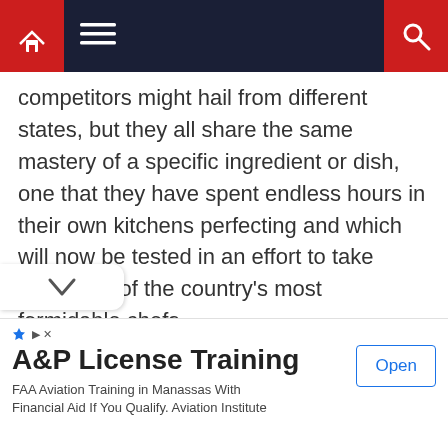Navigation bar with home icon, menu icon, and search icon
competitors might hail from different states, but they all share the same mastery of a specific ingredient or dish, one that they have spent endless hours in their own kitchens perfecting and which will now be tested in an effort to take down one of the country’s most formidable chefs.
[Figure (other): Yellow advertisement placeholder banner]
[Figure (other): Bottom advertisement for A&P License Training: FAA Aviation Training in Manassas With Financial Aid If You Qualify. Aviation Institute, with an Open button.]